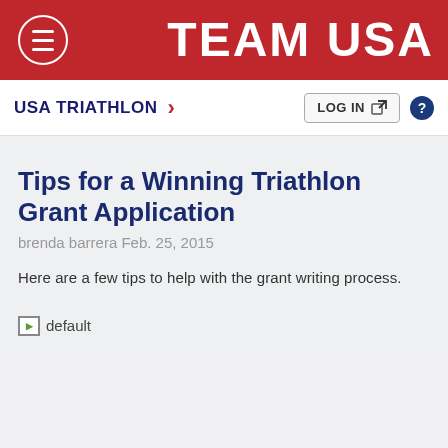TEAM USA
USA TRIATHLON >
Tips for a Winning Triathlon Grant Application
brenda barrera Feb. 25, 2015
Here are a few tips to help with the grant writing process.
[Figure (photo): Broken image placeholder labeled 'default']